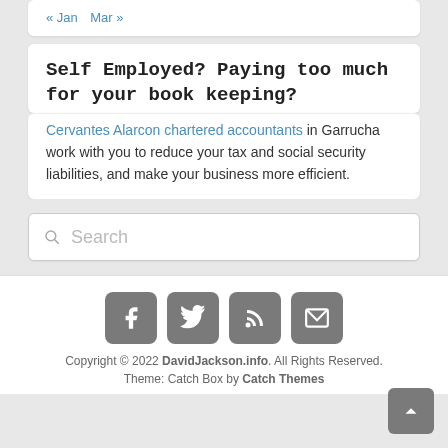« Jan   Mar »
Self Employed? Paying too much for your book keeping?
Cervantes Alarcon chartered accountants in Garrucha work with you to reduce your tax and social security liabilities, and make your business more efficient.
Search
[Figure (infographic): Social media icons: Facebook, Twitter, RSS, Email]
Copyright © 2022 DavidJackson.info. All Rights Reserved. Theme: Catch Box by Catch Themes